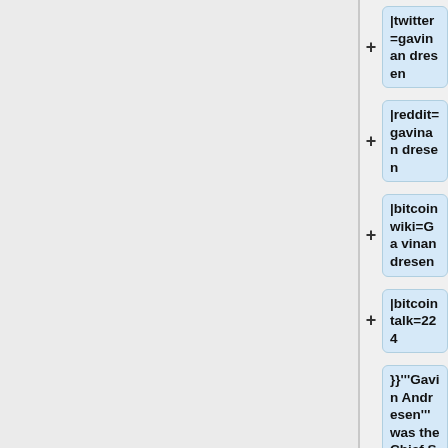|twitter=gavinandresen
|reddit=gavinandresen
|bitcoinwiki=Gavinandresen
|bitcointalk=224
}}'''Gavin Andresen''' was the Chief Scientist for the [[Bitcoin_Foundation|Bitcoin Foundation]].
Previously a Bitcoin committer,